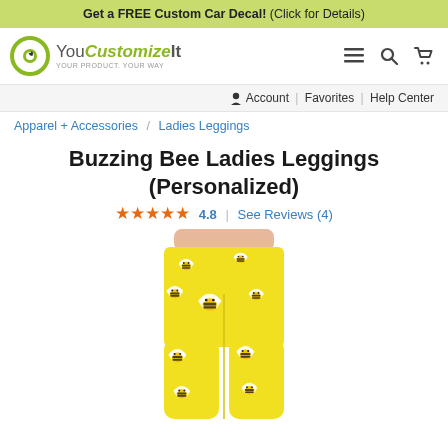Get a FREE Custom Car Decal! (Click for Details)
[Figure (logo): YouCustomizeIt logo with green circle icon and tagline YOUR PRODUCT. YOUR WAY]
Account | Favorites | Help Center
Apparel + Accessories / Ladies Leggings
Buzzing Bee Ladies Leggings (Personalized)
★★★★★ 4.8 | See Reviews (4)
[Figure (photo): Yellow leggings with buzzing bee pattern worn by a model, cropped to show waist and thighs]